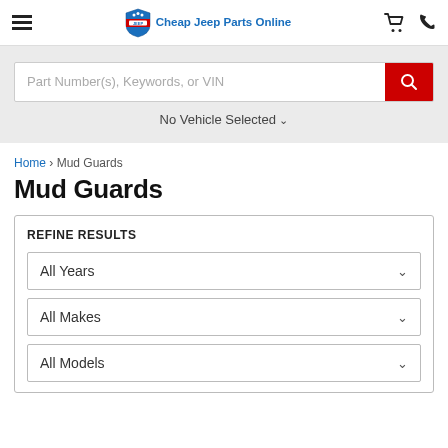Cheap Jeep Parts Online
Part Number(s), Keywords, or VIN
No Vehicle Selected
Home > Mud Guards
Mud Guards
REFINE RESULTS
All Years
All Makes
All Models